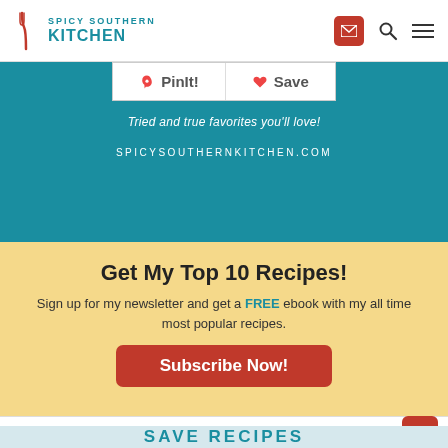Spicy Southern Kitchen
[Figure (screenshot): Spicy Southern Kitchen website header with logo, mail icon, search icon, and menu icon]
PinIt! Save
Tried and true favorites you'll love!
SPICYSOUTHERNKITCHEN.COM
Get My Top 10 Recipes!
Sign up for my newsletter and get a FREE ebook with my all time most popular recipes.
Subscribe Now!
SAVE RECIPES